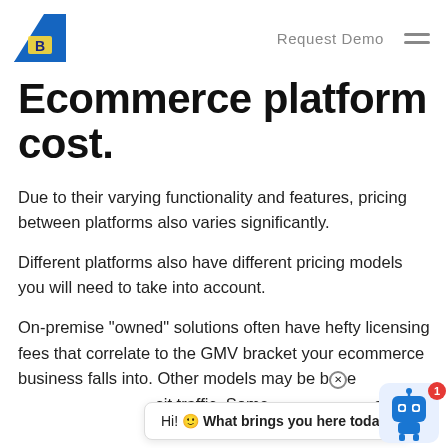Request Demo
Ecommerce platform cost.
Due to their varying functionality and features, pricing between platforms also varies significantly.
Different platforms also have different pricing models you will need to take into account.
On-premise “owned” solutions often have hefty licensing fees that correlate to the GMV bracket your ecommerce business falls into. Other models may be b⊗e sit traffic. Some se